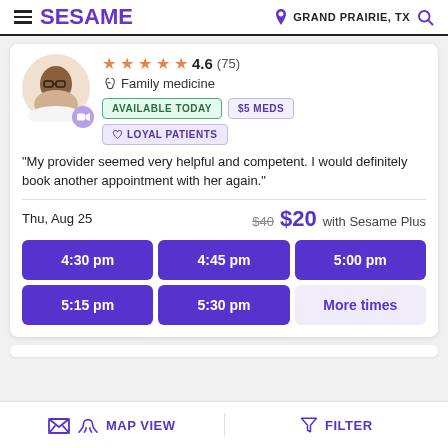SESAME | GRAND PRAIRIE, TX
[Figure (photo): Headshot of a female doctor with glasses, wearing a white coat, in a circular avatar with a video camera badge]
★★★★★ 4.6 (75) Family medicine AVAILABLE TODAY $5 MEDS LOYAL PATIENTS
"My provider seemed very helpful and competent. I would definitely book another appointment with her again."
Thu, Aug 25  $40 $20 with Sesame Plus
| 4:30 pm | 4:45 pm | 5:00 pm |
| 5:15 pm | 5:30 pm | More times |
MAP VIEW  FILTER